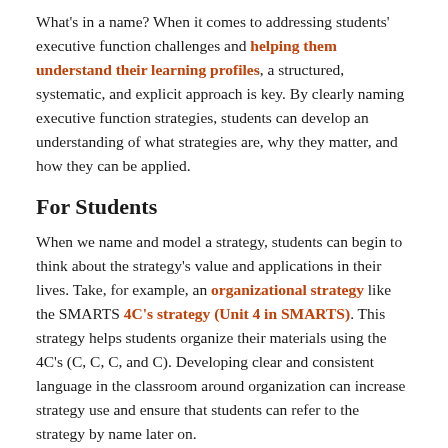What's in a name? When it comes to addressing students' executive function challenges and helping them understand their learning profiles, a structured, systematic, and explicit approach is key. By clearly naming executive function strategies, students can develop an understanding of what strategies are, why they matter, and how they can be applied.
For Students
When we name and model a strategy, students can begin to think about the strategy's value and applications in their lives. Take, for example, an organizational strategy like the SMARTS 4C's strategy (Unit 4 in SMARTS). This strategy helps students organize their materials using the 4C's (C, C, C, and C). Developing clear and consistent language in the classroom around organization can increase strategy use and ensure that students can refer to the strategy by name later on.